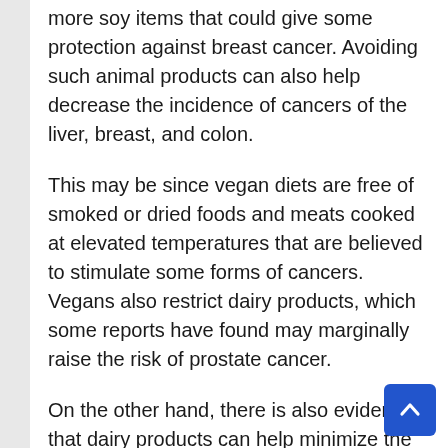more soy items that could give some protection against breast cancer. Avoiding such animal products can also help decrease the incidence of cancers of the liver, breast, and colon.
This may be since vegan diets are free of smoked or dried foods and meats cooked at elevated temperatures that are believed to stimulate some forms of cancers. Vegans also restrict dairy products, which some reports have found may marginally raise the risk of prostate cancer.
On the other hand, there is also evidence that dairy products can help minimize the incidence of other diseases, such as colorectal cancer. It is therefore possible that preventing milk is not